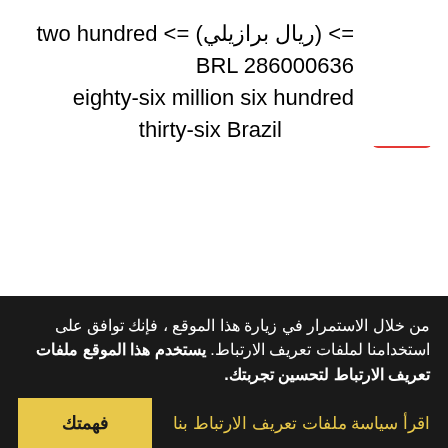two hundred <= (ريال برازيلي) <= BRL 286000636 eighty-six million six hundred thirty-six Brazilian real
من خلال الاستمرار في زيارة هذا الموقع ، فإنك توافق على استخدامنا لملفات تعريف الارتباط. يستخدم هذا الموقع ملفات تعريف الارتباط لتحسين تجربتك.
اقرأ سياسة ملفات تعريف الارتباط بنا
فهمتك